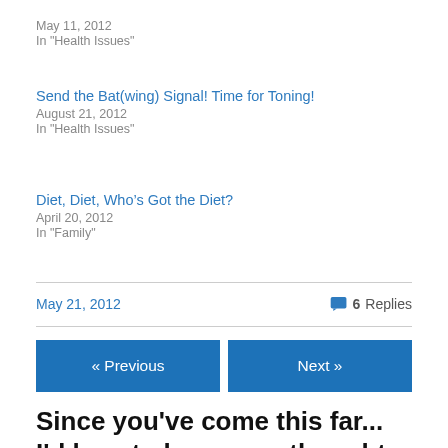Send the Bat(wing) Signal! Time for Toning!
August 21, 2012
In "Health Issues"
Diet, Diet, Who’s Got the Diet?
April 20, 2012
In "Family"
May 21, 2012
6 Replies
« Previous
Next »
Since you've come this far... I'd love to hear your thoughts or comments!